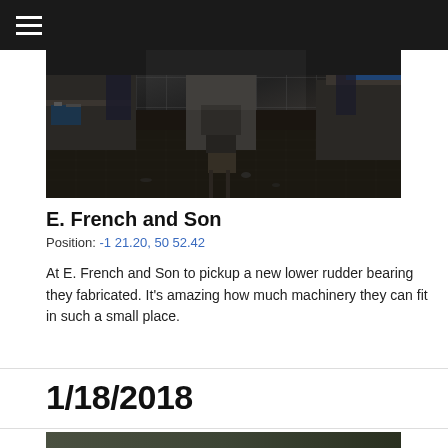Navigation menu
[Figure (photo): Interior of a machine shop workshop with heavy equipment, workbenches, tools, and workers visible in the background. Dark industrial environment with machinery on the floor.]
E. French and Son
Position: -1 21.20, 50 52.42
At E. French and Son to pickup a new lower rudder bearing they fabricated. It’s amazing how much machinery they can fit in such a small place.
1/18/2018
[Figure (photo): Partial view of another photo, showing a dark green/grey surface, likely the beginning of another workshop or boat-related image.]